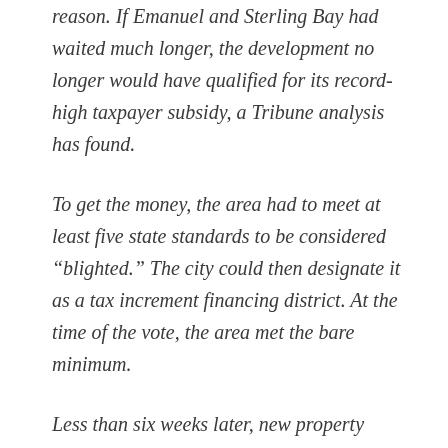reason. If Emanuel and Sterling Bay had waited much longer, the development no longer would have qualified for its record-high taxpayer subsidy, a Tribune analysis has found.
To get the money, the area had to meet at least five state standards to be considered “blighted.” The city could then designate it as a tax increment financing district. At the time of the vote, the area met the bare minimum.
Less than six weeks later, new property assessments were completed. The rising values of the Lincoln Yards land meant the TIF district no longer met one of the five...